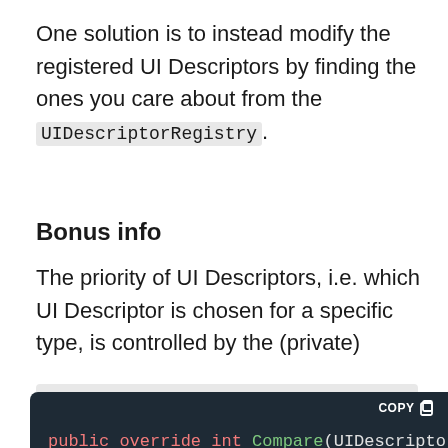One solution is to instead modify the registered UI Descriptors by finding the ones you care about from the UIDescriptorRegistry.
Bonus info
The priority of UI Descriptors, i.e. which UI Descriptor is chosen for a specific type, is controlled by the (private) UIDescriptorRegistry.TypeComparer:
[Figure (screenshot): Code block showing: public override int Compare(UIDescriptor { if (x == y)]